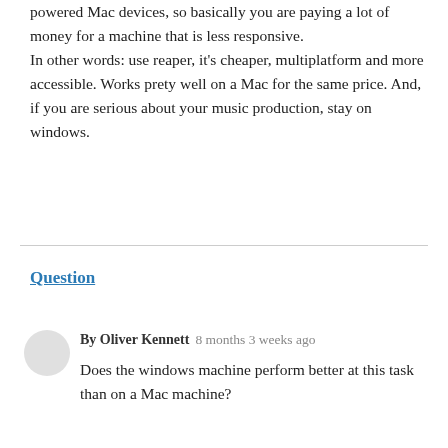powered Mac devices, so basically you are paying a lot of money for a machine that is less responsive.
In other words: use reaper, it's cheaper, multiplatform and more accessible. Works prety well on a Mac for the same price. And, if you are serious about your music production, stay on windows.
Question
By Oliver Kennett   8 months 3 weeks ago
Does the windows machine perform better at this task than on a Mac machine?